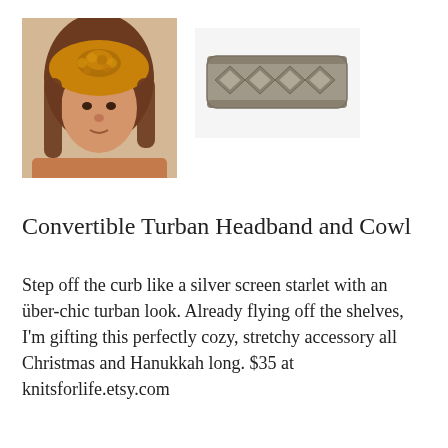[Figure (photo): Woman wearing a mustard yellow chunky knit turban headband]
[Figure (photo): Gray cable-knit headband laid flat on white background]
Convertible Turban Headband and Cowl
Step off the curb like a silver screen starlet with an über-chic turban look. Already flying off the shelves, I'm gifting this perfectly cozy, stretchy accessory all Christmas and Hanukkah long. $35 at knitsforlife.etsy.com